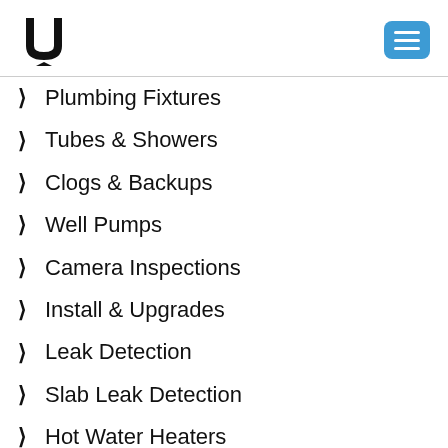Logo and navigation menu button
Plumbing Fixtures
Tubes & Showers
Clogs & Backups
Well Pumps
Camera Inspections
Install & Upgrades
Leak Detection
Slab Leak Detection
Hot Water Heaters
Drain Cleaning